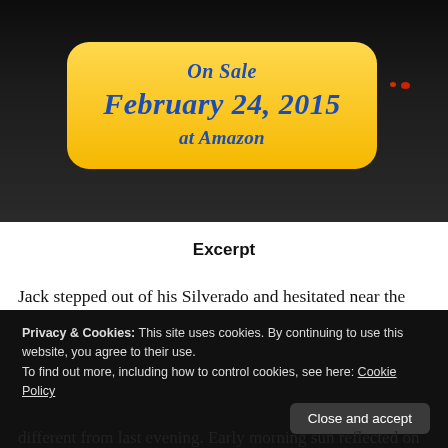[Figure (photo): Dark background image with a yellow rounded rectangle sale announcement box reading 'On Sale February 24, 2015 at Amazon' in blue italic bold text, and a red dot visible on the right side of the dark area.]
Excerpt
Jack stepped out of his Silverado and hesitated near the
Privacy & Cookies: This site uses cookies. By continuing to use this website, you agree to their use.
To find out more, including how to control cookies, see here: Cookie Policy
different from last evening. Early morning sun reflected on